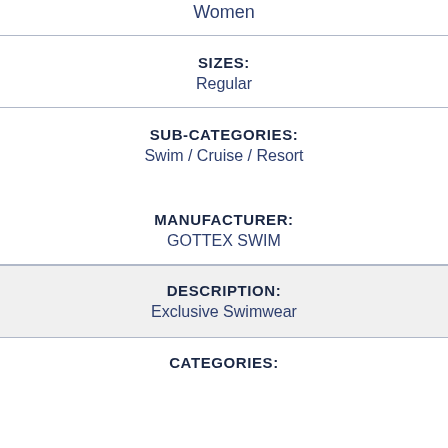Women
SIZES:
Regular
SUB-CATEGORIES:
Swim / Cruise / Resort
MANUFACTURER:
GOTTEX SWIM
DESCRIPTION:
Exclusive Swimwear
CATEGORIES: